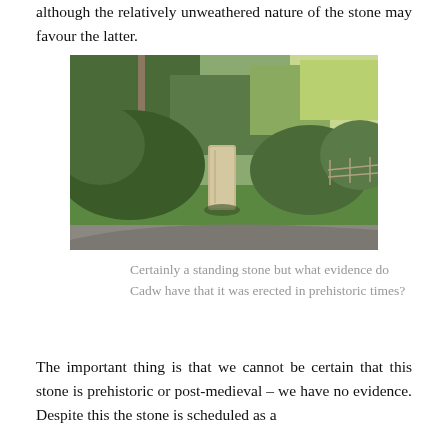although the relatively unweathered nature of the stone may favour the latter.
[Figure (photo): Photograph of a standing stone beside a road, surrounded by dense green bushes and trees. A utility pole is visible on the left. The stone is roughly rectangular, standing upright amid vegetation. A gate or fence is visible in the background on the right.]
Certainly a standing stone but what evidence do Cadw have that it was erected in prehistoric times?
The important thing is that we cannot be certain that this stone is prehistoric or post-medieval – we have no evidence. Despite this the stone is scheduled as a